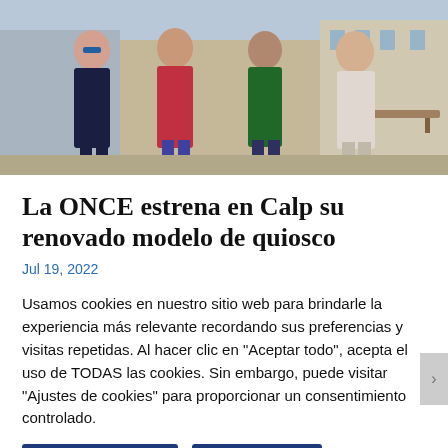[Figure (photo): Four people standing outdoors — three women and one man wearing a green ONCE vest, posing together in a town square or street setting.]
La ONCE estrena en Calp su renovado modelo de quiosco
Jul 19, 2022
Usamos cookies en nuestro sitio web para brindarle la experiencia más relevante recordando sus preferencias y visitas repetidas. Al hacer clic en "Aceptar todo", acepta el uso de TODAS las cookies. Sin embargo, puede visitar "Ajustes de cookies" para proporcionar un consentimiento controlado.
Ajustes de Cookies
Aceptar todas